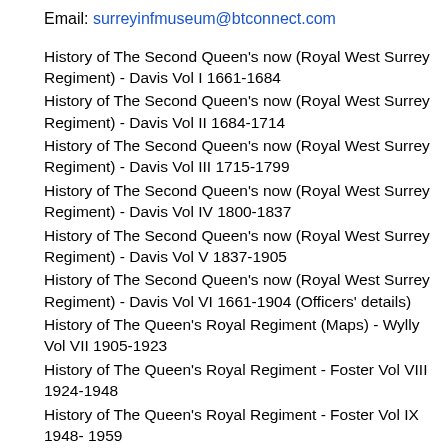Email: surreyinfmuseum@btconnect.com
History of The Second Queen's now (Royal West Surrey Regiment) - Davis Vol I 1661-1684
History of The Second Queen's now (Royal West Surrey Regiment) - Davis Vol II 1684-1714
History of The Second Queen's now (Royal West Surrey Regiment) - Davis Vol III 1715-1799
History of The Second Queen's now (Royal West Surrey Regiment) - Davis Vol IV 1800-1837
History of The Second Queen's now (Royal West Surrey Regiment) - Davis Vol V 1837-1905
History of The Second Queen's now (Royal West Surrey Regiment) - Davis Vol VI 1661-1904 (Officers' details)
History of The Queen's Royal Regiment (Maps) - Wylly Vol VII 1905-1923
History of The Queen's Royal Regiment - Foster Vol VIII 1924-1948
History of The Queen's Royal Regiment - Foster Vol IX 1948- 1959